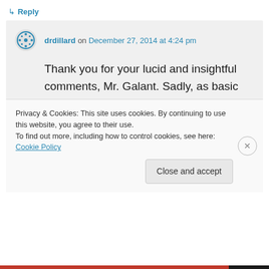↳ Reply
drdillard on December 27, 2014 at 4:24 pm
Thank you for your lucid and insightful comments, Mr. Galant. Sadly, as basic civility and decency seem to wane in our world, these are increasingly replaced with shameless self-interest, mean-spiritedness and a complete lack of self-insight into
Privacy & Cookies: This site uses cookies. By continuing to use this website, you agree to their use.
To find out more, including how to control cookies, see here: Cookie Policy
Close and accept